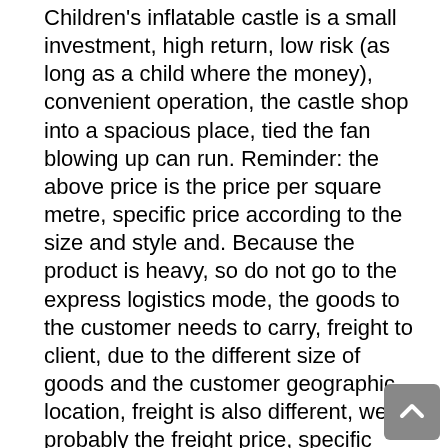Children's inflatable castle is a small investment, high return, low risk (as long as a child where the money), convenient operation, the castle shop into a spacious place, tied the fan blowing up can run. Reminder: the above price is the price per square metre, specific price according to the size and style and. Because the product is heavy, so do not go to the express logistics mode, the goods to the customer needs to carry, freight to client, due to the different size of goods and the customer geographic location, freight is also different, we are probably the freight price, specific freight to the goods to the logistics company to determine. This product belongs to Handmade products, because of the shooting and production batches of different, pictures and real differences is normal. Inflatable toys with the inflatable products special clip PVC waterproof environmental protection material, flame retarding BS5852 (UK) standard; network folder is high strength polyester filament fabric, and method for scraping quality PVC slurry smear net clamping sides, has the characteristics of environmental protection, corrosion resistance, good toughness, soft the tensile strength, tear good appearance, is welcomed by the market and the children's favorite recreation facilities. Can be made according to the site and user demand. After sale service: product warranty for three years, the warranty period free of glue and repair.